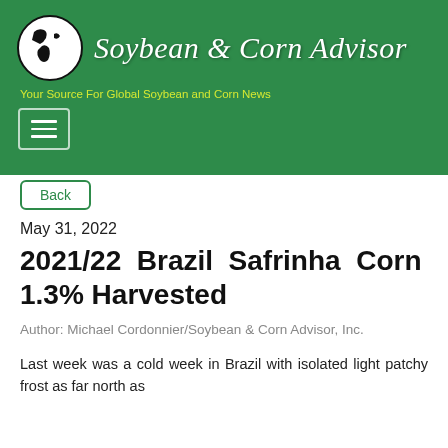Soybean & Corn Advisor — Your Source For Global Soybean and Corn News
Back
May 31, 2022
2021/22 Brazil Safrinha Corn 1.3% Harvested
Author: Michael Cordonnier/Soybean & Corn Advisor, Inc.
Last week was a cold week in Brazil with isolated light patchy frost as far north as